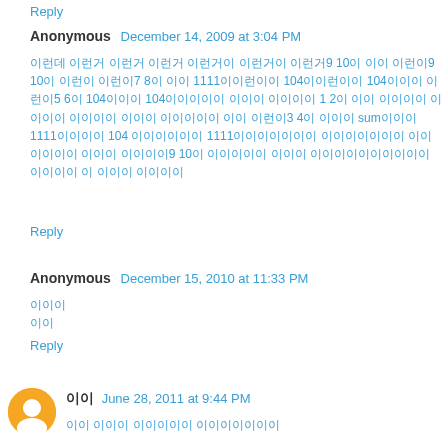Reply
Anonymous  December 14, 2009 at 3:04 PM
이런데 이런거 이런거 이런거 이런거이 이런거이 이런거9 10이 이이 이런이9 10이 이런이 이런이7 8이 이이 1111이이런이이 104이이런이이 104이이이 이런이5 6이 104이이이 104이이이이이 이이이 이이이이 1 2이 이이 이이이이 이이이이 이이이이 이이이 이이이이이 이이 이런이3 4이 이이이 sum이이이 1111이이이이 104 이이이이이이 1111이이이이이이이 이이이이이이이 이이이이이이 이이이 이이이이9 10이 이이이이이 이이이 이이이이이이이이이이 이이이이 이 이이이 이이이이
Reply
Anonymous  December 15, 2010 at 11:33 PM
이이이
이이
Reply
이이  June 28, 2011 at 9:44 PM
이이 이이이 이이이이이 이이이이이이이